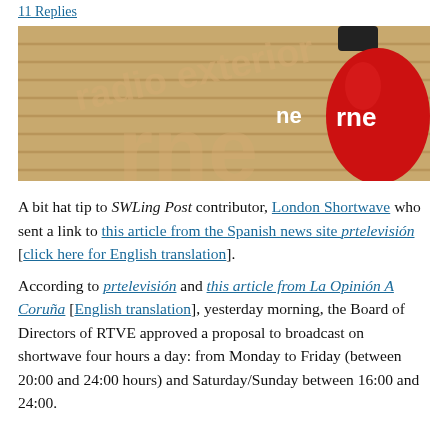11 Replies
[Figure (photo): Photo of an RNE (Radio Nacional de España) red microphone with 'rne' logo, with a wooden wall in the background showing 'radio exterior' text shadow]
A bit hat tip to SWLing Post contributor, London Shortwave who sent a link to this article from the Spanish news site prtelevisión [click here for English translation].
According to prtelevisión and this article from La Opinión A Coruña [English translation], yesterday morning, the Board of Directors of RTVE approved a proposal to broadcast on shortwave four hours a day: from Monday to Friday (between 20:00 and 24:00 hours) and Saturday/Sunday between 16:00 and 24:00.